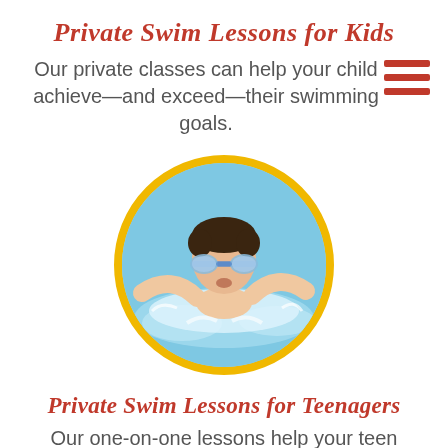Private Swim Lessons for Kids
Our private classes can help your child achieve—and exceed—their swimming goals.
[Figure (photo): A boy wearing swim goggles doing butterfly stroke in a pool, shown in a circular frame with yellow border.]
Private Swim Lessons for Teenagers
Our one-on-one lessons help your teen pickup the basics of swim with comfortable guidance.